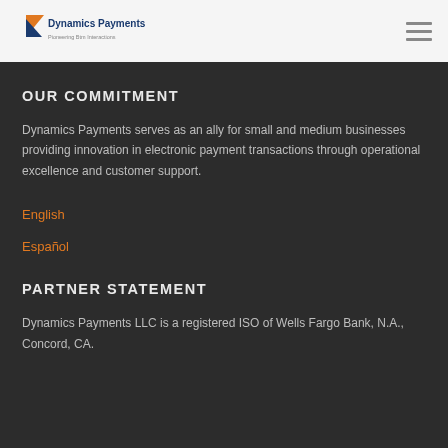Dynamics Payments — Pioneering Btm Interactions
OUR COMMITMENT
Dynamics Payments serves as an ally for small and medium businesses providing innovation in electronic payment transactions through operational excellence and customer support.
English
Español
PARTNER STATEMENT
Dynamics Payments LLC is a registered ISO of Wells Fargo Bank, N.A., Concord, CA.